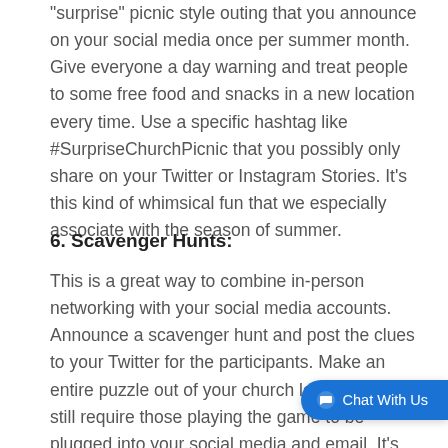"surprise" picnic style outing that you announce on your social media once per summer month. Give everyone a day warning and treat people to some free food and snacks in a new location every time. Use a specific hashtag like #SurpriseChurchPicnic that you possibly only share on your Twitter or Instagram Stories. It's this kind of whimsical fun that we especially associate with the season of summer.
6. Scavenger Hunts:
This is a great way to combine in-person networking with your social media accounts. Announce a scavenger hunt and post the clues to your Twitter for the participants. Make an entire puzzle out of your church location, but still require those playing the game to be plugged into your social media and email. It's an easy way to collect contact information while also providing some completely fun for everyone to play – including the